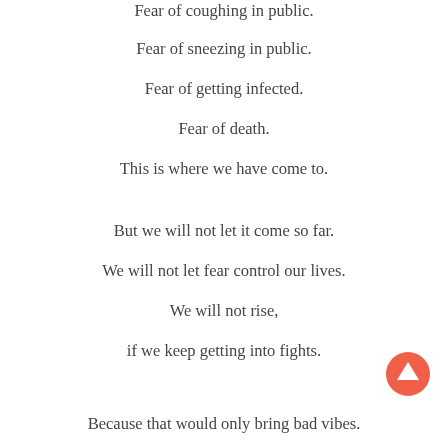Fear of coughing in public.
Fear of sneezing in public.
Fear of getting infected.
Fear of death.
This is where we have come to.
But we will not let it come so far.
We will not let fear control our lives.
We will not rise,
if we keep getting into fights.
Because that would only bring bad vibes.
[Figure (illustration): Orange circular up-arrow button in bottom right area]